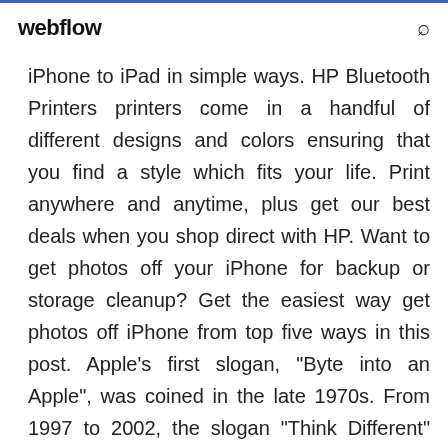webflow
iPhone to iPad in simple ways. HP Bluetooth Printers printers come in a handful of different designs and colors ensuring that you find a style which fits your life. Print anywhere and anytime, plus get our best deals when you shop direct with HP. Want to get photos off your iPhone for backup or storage cleanup? Get the easiest way get photos off iPhone from top five ways in this post. Apple's first slogan, "Byte into an Apple", was coined in the late 1970s. From 1997 to 2002, the slogan "Think Different" was used in advertising campaigns, and is still closely associated with Apple. Jobs also announced that Apple could not produce